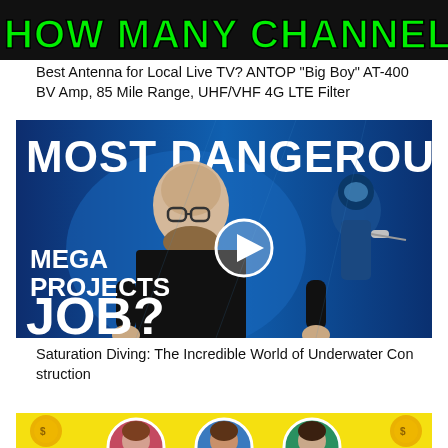[Figure (screenshot): YouTube thumbnail with dark background and green bold text reading HOW MANY CHANNELS DID I GET?]
Best Antenna for Local Live TV? ANTOP "Big Boy" AT-400 BV Amp, 85 Mile Range, UHF/VHF 4G LTE Filter
[Figure (screenshot): YouTube thumbnail for 'Most Dangerous Mega Projects Job?' with bald bearded man, scuba diver, blue underwater background, play button overlay]
Saturation Diving: The Incredible World of Underwater Construction
[Figure (screenshot): Partial YouTube thumbnail with yellow background and circular profile photos of people]